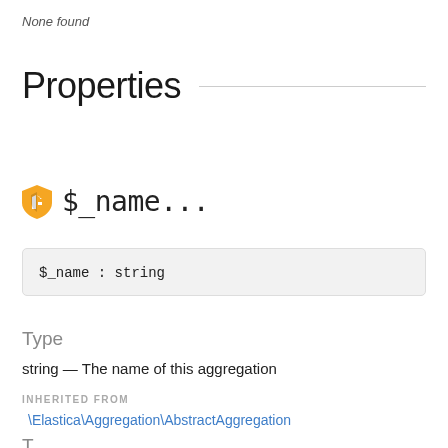None found
Properties
$_name...
$_name : string
Type
string — The name of this aggregation
INHERITED FROM
\Elastica\Aggregation\AbstractAggregation
T